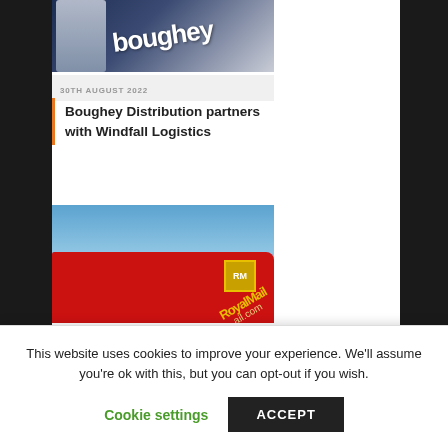[Figure (photo): Boughey Distribution branded vehicle/lorry with person visible, dark blue background with 'boughey' text]
30TH AUGUST 2022
Boughey Distribution partners with Windfall Logistics
[Figure (photo): Royal Mail red van with logo and website url, photographed against blue sky with clouds]
30TH AUGUST 2022
Royal Mail continues
This website uses cookies to improve your experience. We'll assume you're ok with this, but you can opt-out if you wish.